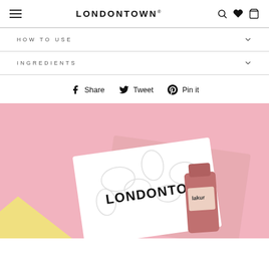LONDONTOWN®
HOW TO USE
INGREDIENTS
Share   Tweet   Pin it
[Figure (photo): Londontown branded gift box with lakur nail product on pink background with yellow accent corner]